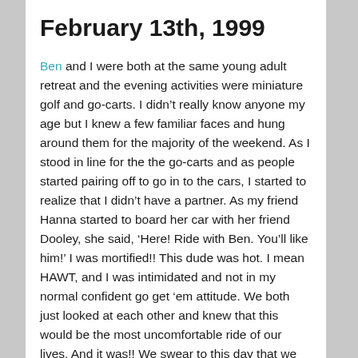February 13th, 1999
Ben and I were both at the same young adult retreat and the evening activities were miniature golf and go-carts. I didn't really know anyone my age but I knew a few familiar faces and hung around them for the majority of the weekend. As I stood in line for the the go-carts and as people started pairing off to go in to the cars, I started to realize that I didn't have a partner. As my friend Hanna started to board her car with her friend Dooley, she said, 'Here! Ride with Ben. You'll like him!' I was mortified!! This dude was hot. I mean HAWT, and I was intimidated and not in my normal confident go get 'em attitude. We both just looked at each other and knew that this would be the most uncomfortable ride of our lives. And it was!! We swear to this day that we had the slowest car out there. Or maybe he just drove slow so he could